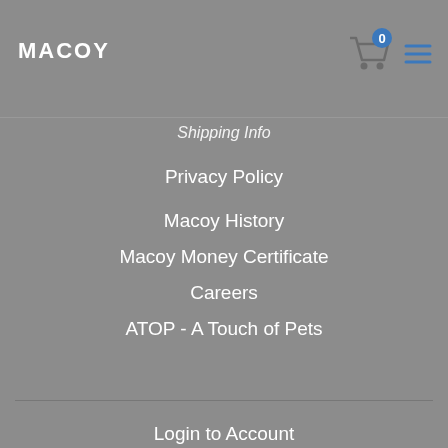MACOY
Shipping Info
Privacy Policy
Macoy History
Macoy Money Certificate
Careers
ATOP - A Touch of Pets
Login to Account
My Orders
My Wishlist